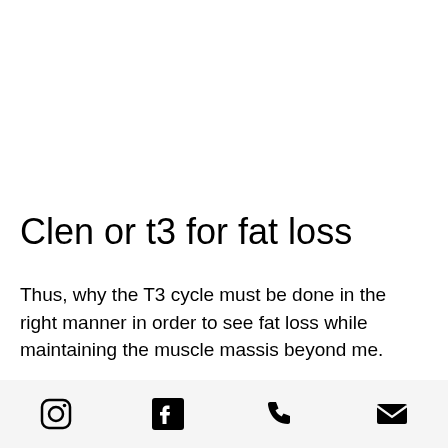Clen or t3 for fat loss
Thus, why the T3 cycle must be done in the right manner in order to see fat loss while maintaining the muscle massis beyond me.
[Figure (other): Footer bar with four social/contact icons: Instagram, Facebook, phone, email]